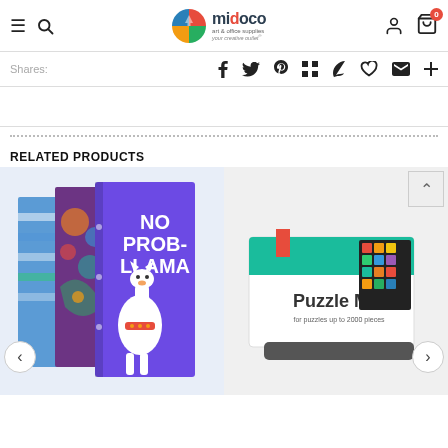Midoco Art & Office Supplies - your creative outlet
Shares:
RELATED PRODUCTS
[Figure (photo): Product photo of colorful binders/notebooks including one with 'NO PROB-LLAMA' design featuring a llama illustration]
[Figure (photo): Product photo of a Puzzle Mat box with a completed puzzle visible]